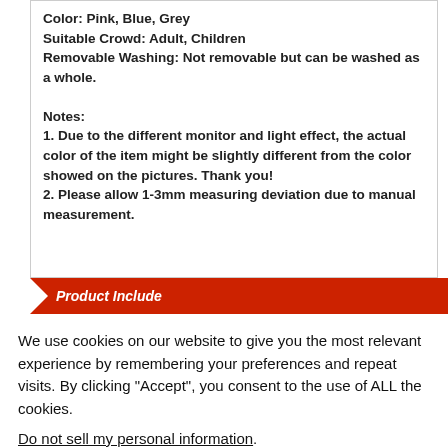Color: Pink, Blue, Grey
Suitable Crowd: Adult, Children
Removable Washing: Not removable but can be washed as a whole.

Notes:
1. Due to the different monitor and light effect, the actual color of the item might be slightly different from the color showed on the pictures. Thank you!
2. Please allow 1-3mm measuring deviation due to manual measurement.
Product Include
We use cookies on our website to give you the most relevant experience by remembering your preferences and repeat visits. By clicking “Accept”, you consent to the use of ALL the cookies.
Do not sell my personal information.
Settings   Accept